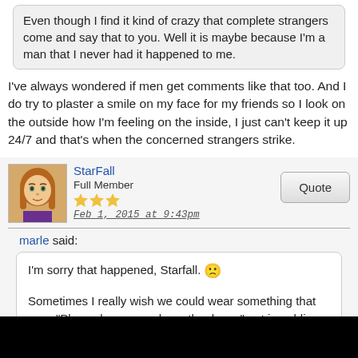Even though I find it kind of crazy that complete strangers come and say that to you. Well it is maybe because I'm a man that I never had it happened to me.
I've always wondered if men get comments like that too. And I do try to plaster a smile on my face for my friends so I look on the outside how I'm feeling on the inside, I just can't keep it up 24/7 and that's when the concerned strangers strike.
StarFall
Full Member
Feb 1, 2015 at 9:43pm
marle said:
I'm sorry that happened, Starfall. 😟

Sometimes I really wish we could wear something that says "Please leave me alone, thank you" out in public like the "Do Not Disturb" doorknob hangers, without drawing even more attention.

I relate to having the sad/upset looking relaxed face so much. I've had some of the same comments from strangers: "Are you OK?" at the...